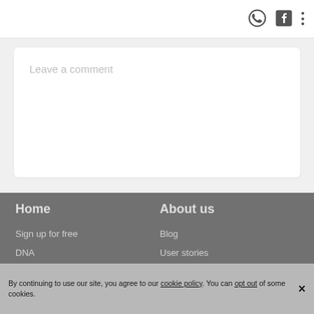[Figure (screenshot): Header bar with WhatsApp icon, Facebook icon, and vertical three-dot menu icon on the right side]
Leave a comment
Home
About us
Sign up for free
Blog
DNA
User stories
Family tree
Our team
Historical records
Become an affiliate
By continuing to use our site, you agree to our cookie policy. You can opt out of some cookies.